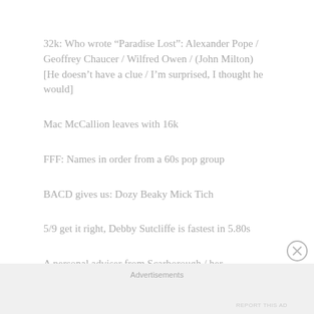32k: Who wrote “Paradise Lost”: Alexander Pope / Geoffrey Chaucer / Wilfred Owen / (John Milton) [He doesn’t have a clue / I’m surprised, I thought he would]
Mac McCallion leaves with 16k
FFF: Names in order from a 60s pop group
BACD gives us: Dozy Beaky Mick Tich
5/9 get it right, Debby Sutcliffe is fastest in 5.80s
A personal adviser from Scarborough / her husband is in the audience / She didn’t expect to get on, just expected
Advertisements